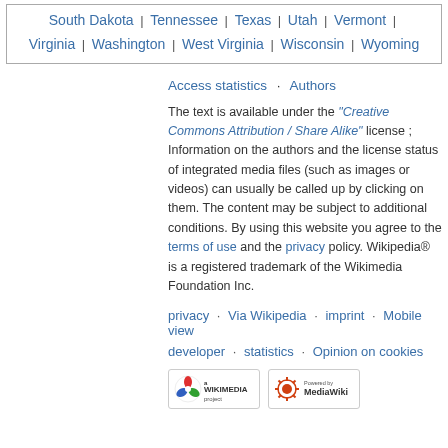South Dakota | Tennessee | Texas | Utah | Vermont | Virginia | Washington | West Virginia | Wisconsin | Wyoming
Access statistics · Authors
The text is available under the "Creative Commons Attribution / Share Alike" license ; Information on the authors and the license status of integrated media files (such as images or videos) can usually be called up by clicking on them. The content may be subject to additional conditions. By using this website you agree to the terms of use and the privacy policy. Wikipedia® is a registered trademark of the Wikimedia Foundation Inc.
privacy · Via Wikipedia · imprint · Mobile view
developer · statistics · Opinion on cookies
[Figure (logo): Wikimedia project logo badge]
[Figure (logo): Powered by MediaWiki badge]